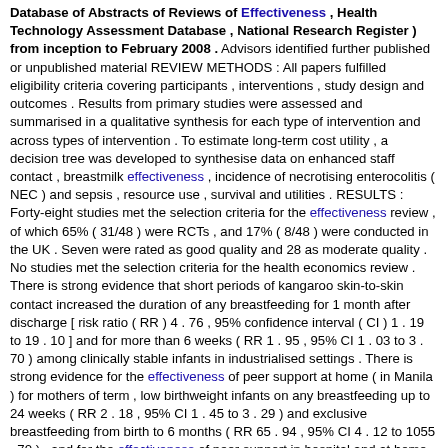Database of Abstracts of Reviews of Effectiveness , Health Technology Assessment Database , National Research Register ) from inception to February 2008 . Advisors identified further published or unpublished material REVIEW METHODS : All papers fulfilled eligibility criteria covering participants , interventions , study design and outcomes . Results from primary studies were assessed and summarised in a qualitative synthesis for each type of intervention and across types of intervention . To estimate long-term cost utility , a decision tree was developed to synthesise data on enhanced staff contact , breastmilk effectiveness , incidence of necrotising enterocolitis ( NEC ) and sepsis , resource use , survival and utilities . RESULTS : Forty-eight studies met the selection criteria for the effectiveness review , of which 65% ( 31/48 ) were RCTs , and 17% ( 8/48 ) were conducted in the UK . Seven were rated as good quality and 28 as moderate quality . No studies met the selection criteria for the health economics review . There is strong evidence that short periods of kangaroo skin-to-skin contact increased the duration of any breastfeeding for 1 month after discharge [ risk ratio ( RR ) 4 . 76 , 95% confidence interval ( CI ) 1 . 19 to 19 . 10 ] and for more than 6 weeks ( RR 1 . 95 , 95% CI 1 . 03 to 3 . 70 ) among clinically stable infants in industrialised settings . There is strong evidence for the effectiveness of peer support at home ( in Manila ) for mothers of term , low birthweight infants on any breastfeeding up to 24 weeks ( RR 2 . 18 , 95% CI 1 . 45 to 3 . 29 ) and exclusive breastfeeding from birth to 6 months ( RR 65 . 94 , 95% CI 4 . 12 to 1055 . 70 ) , and for the effectiveness of peer support in hospital and at home for mothers of infants in Special Care Baby Units on providing any breastmilk at 12 weeks [ odds ratio ( OR ) 2 . 81 , 95% CI 1 . 11 to 7 . 14 ; p = 0 . 01 ] . There is more limited evidence for the effectiveness of skilled professional support in a US Neonatal Intensive Care Unit on infants receiving any breastmilk at discharge ( OR 2 . 0 , 95% CI 1 . 2 to 3 . 3 ; p = 0 . 014 ) .